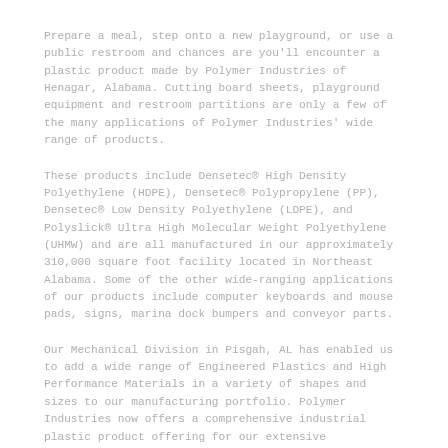Prepare a meal, step onto a new playground, or use a public restroom and chances are you'll encounter a plastic product made by Polymer Industries of Henagar, Alabama. Cutting board sheets, playground equipment and restroom partitions are only a few of the many applications of Polymer Industries' wide range of products.
These products include Densetec® High Density Polyethylene (HDPE), Densetec® Polypropylene (PP), Densetec® Low Density Polyethylene (LDPE), and Polyslick® Ultra High Molecular Weight Polyethylene (UHMW) and are all manufactured in our approximately 310,000 square foot facility located in Northeast Alabama. Some of the other wide-ranging applications of our products include computer keyboards and mouse pads, signs, marina dock bumpers and conveyor parts.
Our Mechanical Division in Pisgah, AL has enabled us to add a wide range of Engineered Plastics and High Performance Materials in a variety of shapes and sizes to our manufacturing portfolio. Polymer Industries now offers a comprehensive industrial plastic product offering for our extensive distribution network. We supply material to a variety of industries including food processing, materials handling, architectural, marine, construction, and semiconductor electronics.
Our past growth agenda, which has included a manufacturing facility in Tacoma Washington, a truck liner manufacturer in